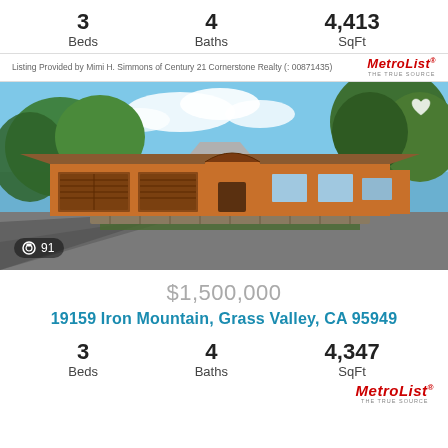3 Beds | 4 Baths | 4,413 SqFt
Listing Provided by Mimi H. Simmons of Century 21 Cornerstone Realty (: 00871435)
[Figure (photo): Exterior photo of a large single-story ranch-style home with wood siding, attached garage, stone landscaping, and oak trees under blue sky. Photo count badge shows 91.]
$1,500,000
19159 Iron Mountain, Grass Valley, CA 95949
3 Beds | 4 Baths | 4,347 SqFt